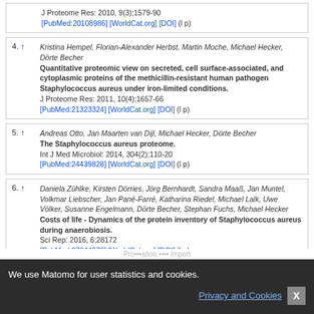J Proteome Res: 2010, 9(3);1579-90 [PubMed:20108986] [WorldCat.org] [DOI] (l p)
4. ↑ Kristina Hempel, Florian-Alexander Herbst, Martin Moche, Michael Hecker, Dörte Becher. Quantitative proteomic view on secreted, cell surface-associated, and cytoplasmic proteins of the methicillin-resistant human pathogen Staphylococcus aureus under iron-limited conditions. J Proteome Res: 2011, 10(4);1657-66 [PubMed:21323324] [WorldCat.org] [DOI] (l p)
5. ↑ Andreas Otto, Jan Maarten van Dijl, Michael Hecker, Dörte Becher. The Staphylococcus aureus proteome. Int J Med Microbiol: 2014, 304(2);110-20 [PubMed:24439828] [WorldCat.org] [DOI] (l p)
6. ↑ Daniela Zühlke, Kirsten Dörries, Jörg Bernhardt, Sandra Maaß, Jan Muntel, Volkmar Liebscher, Jan Pané-Farré, Katharina Riedel, Michael Lalk, Uwe Völker, Susanne Engelmann, Dörte Becher, Stephan Fuchs, Michael Hecker. Costs of life - Dynamics of the protein inventory of Staphylococcus aureus during anaerobiosis. Sci Rep: 2016, 6;28172 [PubMed:27344979] [WorldCat.org] [DOI] (l e)
□ Relevant publications
We use Matomo for user statistics and cookies. Privacy and Cookies X